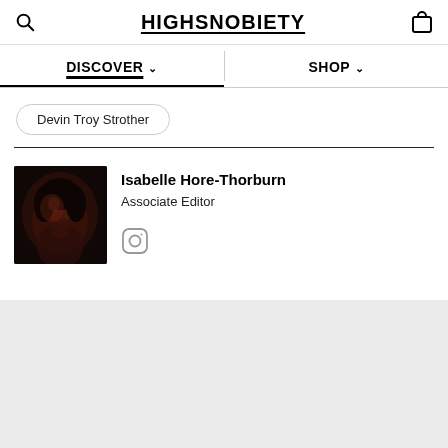HIGHSNOBIETY
DISCOVER
SHOP
Devin Troy Strother
[Figure (photo): Profile photo of Isabelle Hore-Thorburn, a dark moody portrait with red lighting]
Isabelle Hore-Thorburn
Associate Editor